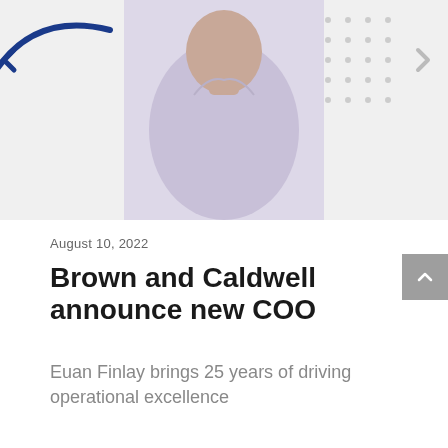[Figure (photo): Professional headshot of a man in a light purple/lavender dress shirt, cropped at torso, with decorative blue arc on top-left and dot pattern on top-right]
August 10, 2022
Brown and Caldwell announce new COO
Euan Finlay brings 25 years of driving operational excellence